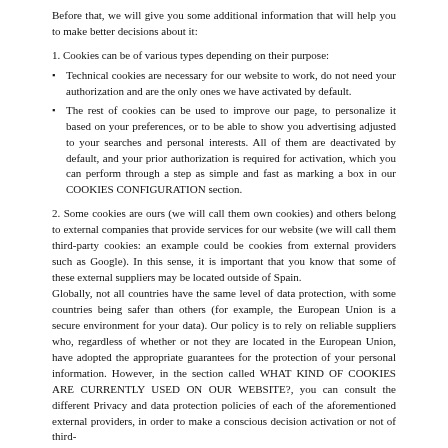Before that, we will give you some additional information that will help you to make better decisions about it:
1. Cookies can be of various types depending on their purpose:
Technical cookies are necessary for our website to work, do not need your authorization and are the only ones we have activated by default.
The rest of cookies can be used to improve our page, to personalize it based on your preferences, or to be able to show you advertising adjusted to your searches and personal interests. All of them are deactivated by default, and your prior authorization is required for activation, which you can perform through a step as simple and fast as marking a box in our COOKIES CONFIGURATION section.
2. Some cookies are ours (we will call them own cookies) and others belong to external companies that provide services for our website (we will call them third-party cookies: an example could be cookies from external providers such as Google). In this sense, it is important that you know that some of these external suppliers may be located outside of Spain.
Globally, not all countries have the same level of data protection, with some countries being safer than others (for example, the European Union is a secure environment for your data). Our policy is to rely on reliable suppliers who, regardless of whether or not they are located in the European Union, have adopted the appropriate guarantees for the protection of your personal information. However, in the section called WHAT KIND OF COOKIES ARE CURRENTLY USED ON OUR WEBSITE?, you can consult the different Privacy and data protection policies of each of the aforementioned external providers, in order to make a conscious decision activation or not of third-